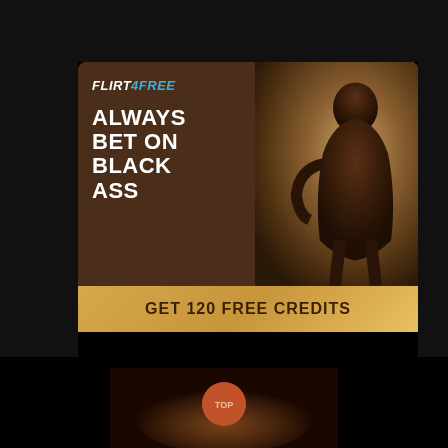[Figure (screenshot): Flirt4Free advertisement banner with dark brown left panel showing logo and tagline 'ALWAYS BET ON BLACK ASS', gold CTA button 'GET 120 FREE CREDITS', and right panel with photo of a person. Close [X] button below. TOP button at bottom.]